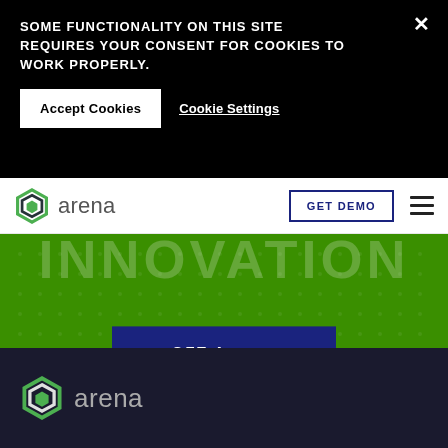SOME FUNCTIONALITY ON THIS SITE REQUIRES YOUR CONSENT FOR COOKIES TO WORK PROPERLY.
Accept Cookies
Cookie Settings
[Figure (logo): Arena logo in navbar - green hexagon icon with 'arena' text]
GET DEMO
GET A DEMO
[Figure (logo): Arena logo in footer - green hexagon icon with 'arena' text on dark background]